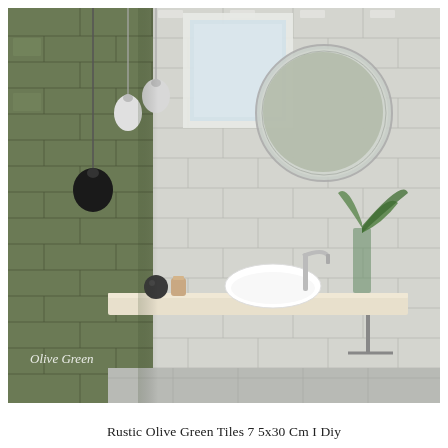[Figure (photo): Bathroom interior showing olive green rustic subway tiles on the left wall and shower area, light grey/cream glossy subway tiles on the right wall and back wall, a floating stone countertop with a white oval vessel sink, chrome faucet, decorative dark pendant lights, a round mirror, green plant in glass vase, and small decorative objects. Text 'Olive Green' watermark in lower left of photo.]
Rustic Olive Green Tiles 7 5x30 Cm I Diy